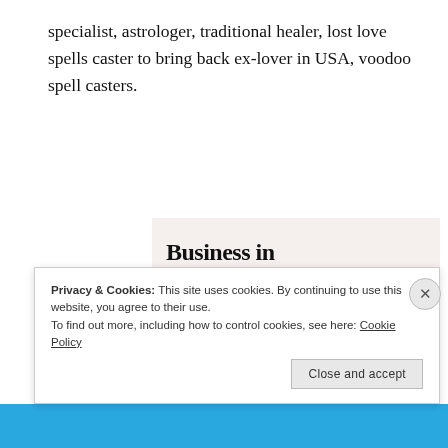specialist, astrologer, traditional healer, lost love spells caster to bring back ex-lover in USA, voodoo spell casters.
[Figure (illustration): Advertisement banner with two sections: top section with light beige background showing bold text 'Business in the front...' and bottom section with colorful gradient background (orange, pink, purple) showing bold text 'WordPress in the back.']
Privacy & Cookies: This site uses cookies. By continuing to use this website, you agree to their use.
To find out more, including how to control cookies, see here: Cookie Policy
Close and accept